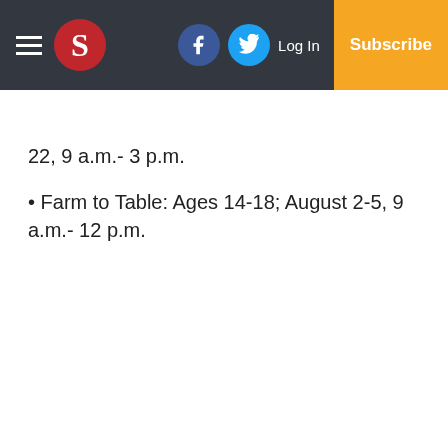S [logo] | Facebook | Twitter | Log In | Subscribe
22, 9 a.m.- 3 p.m.
Farm to Table: Ages 14-18; August 2-5, 9 a.m.- 12 p.m.